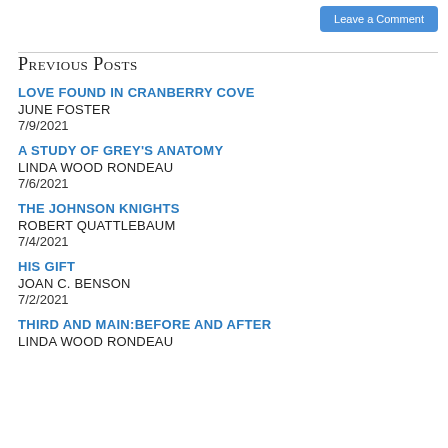Leave a Comment
Previous Posts
LOVE FOUND IN CRANBERRY COVE
JUNE FOSTER
7/9/2021
A STUDY OF GREY'S ANATOMY
LINDA WOOD RONDEAU
7/6/2021
THE JOHNSON KNIGHTS
ROBERT QUATTLEBAUM
7/4/2021
HIS GIFT
JOAN C. BENSON
7/2/2021
THIRD AND MAIN:BEFORE AND AFTER
LINDA WOOD RONDEAU